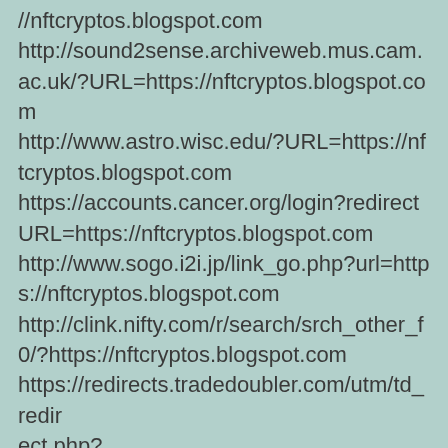//nftcryptos.blogspot.com
http://sound2sense.archiveweb.mus.cam.ac.uk/?URL=https://nftcryptos.blogspot.com
http://www.astro.wisc.edu/?URL=https://nftcryptos.blogspot.com
https://accounts.cancer.org/login?redirectURL=https://nftcryptos.blogspot.com
http://www.sogo.i2i.jp/link_go.php?url=https://nftcryptos.blogspot.com
http://clink.nifty.com/r/search/srch_other_f0/?https://nftcryptos.blogspot.com
https://redirects.tradedoubler.com/utm/td_redirect.php?td_keep_old_utm_value=1&url=https://nftcrypt
ect.php?
td_keep_old_utm_value=1&url=https://nftcrypt